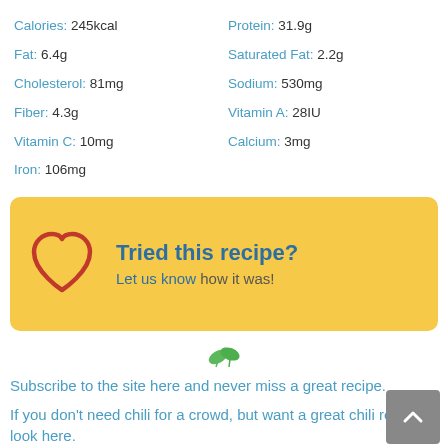Calories: 245kcal
Protein: 31.9g
Fat: 6.4g
Saturated Fat: 2.2g
Cholesterol: 81mg
Sodium: 530mg
Fiber: 4.3g
Vitamin A: 28IU
Vitamin C: 10mg
Calcium: 3mg
Iron: 106mg
[Figure (infographic): Yellow rounded box with heart icon and text: Tried this recipe? Let us know how it was!]
[Figure (illustration): Small green leaf icon]
Subscribe to the site here and never miss a great recipe.
If you don't need chili for a crowd, but want a great chili recipe, look here.
Like this recipe? I'd love you to share it on your favorite